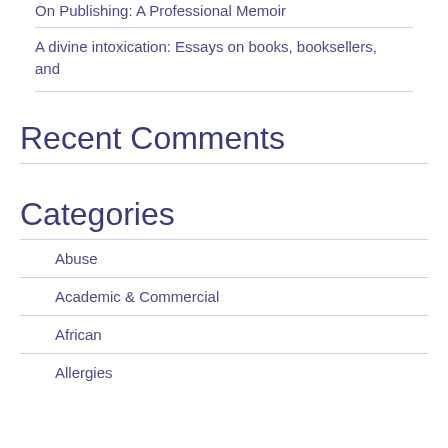On Publishing: A Professional Memoir
A divine intoxication: Essays on books, booksellers, and
Recent Comments
Categories
Abuse
Academic & Commercial
African
Allergies